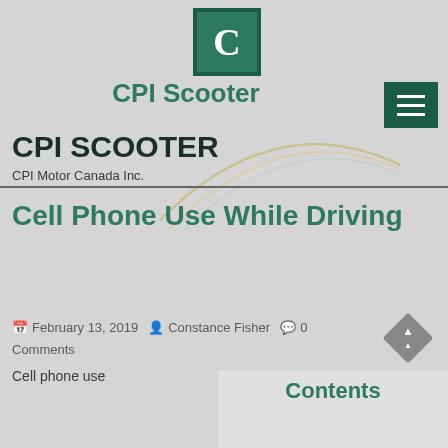[Figure (logo): CPI Scooter logo: dark teal square with white letter C inside]
CPI Scooter
CPI SCOOTER
CPI Motor Canada Inc.
Cell Phone Use While Driving
February 13, 2019  Constance Fisher  0 Comments
Cell phone use
Contents